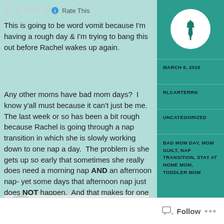[Figure (other): Rating stars (empty/outline) with info icon and 'Rate This' text]
This is going to be word vomit because I'm having a rough day & I'm trying to bang this out before Rachel wakes up again.
Any other moms have bad mom days?  I know y'all must because it can't just be me.  The last week or so has been a bit rough because Rachel is going through a nap transition in which she is slowly working down to one nap a day.  The problem is she gets up so early that sometimes she really does need a morning nap AND an afternoon nap- yet some days that afternoon nap just does NOT happen.  And that makes for one REALLY fussy toddler- & one really frustrated mama!
[Figure (other): Sidebar with teal pushpin icon in circle, date MARCH 6 2018, author RLCARTERRN, category UNCATEGORIZED, tags BAD MOM DAY MOM GUILT NAP TRANSITION STAY AT HOME MOM TODDLER MOM]
MARCH 6, 2018
RLCARTERRN
UNCATEGORIZED
BAD MOM DAY, MOM GUILT, NAP TRANSITION, STAY AT HOME MOM, TODDLER MOM
[Figure (other): Follow button with icon and three dots menu at bottom of page]